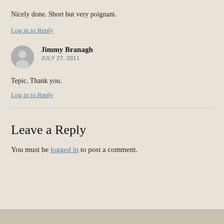Nicely done. Short but very poignant.
Log in to Reply
Jimmy Branagh
JULY 27, 2011
Tepic.  Thank you.
Log in to Reply
Leave a Reply
You must be logged in to post a comment.